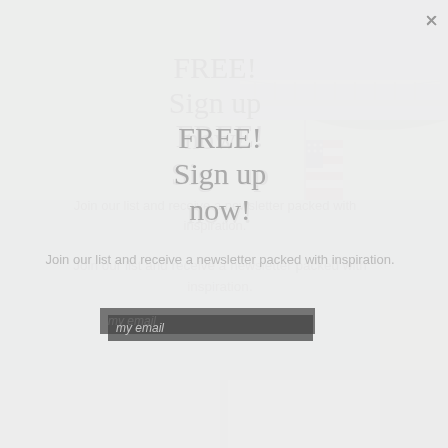[Figure (photo): Outdoor photo showing a suspension bridge over a river with an American flag hanging from it, green hills in the background, taken in summer.]
FREE!
Sign up now!
Join our list and receive a newsletter packed with inspiration.
by email
Havana
by Frank Quattrone
We arrived during the second wave of the Winterfest pub crawl. Havana was bursting with Civil War reenactors and their giddy followers, flowing from room to room in the sprawling (almost 300-seat) restaurant, singing “The Battle Hymn of the Republic,” raising their craft beers, mojitos, and other cocktails in unison. Other patrons were chattering away, buzzing in the dimly lighted rooms, enjoying jumbo lump crab cakes and dinner burgers